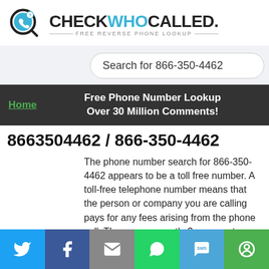[Figure (logo): CheckWhoCalled logo with phone icon in a magnifying glass, text CHECKWHOCALLED in black and blue, subtitle FREE REVERSE PHONE LOOKUP]
Search for 866-350-4462
Home
Free Phone Number Lookup Over 30 Million Comments!
8663504462 / 866-350-4462
The phone number search for 866-350-4462 appears to be a toll free number. A toll-free telephone number means that the person or company you are calling pays for any fees arising from the phone call. There are currently 3 comments submitted for this phone number.
Have you received a text message or phone call from 8663504462? Read the comments to determine who is calling from this phone number. Please share any additional information or comments you may have below